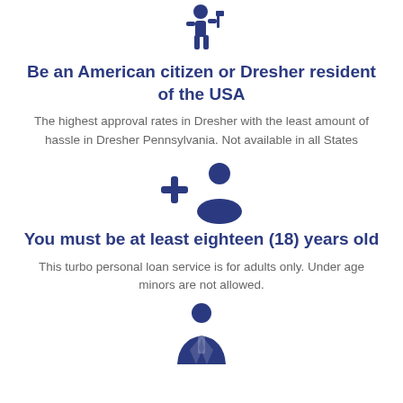[Figure (illustration): Dark blue icon of a person standing with a marker/flag]
Be an American citizen or Dresher resident of the USA
The highest approval rates in Dresher with the least amount of hassle in Dresher Pennsylvania. Not available in all States
[Figure (illustration): Dark blue icon of adding a person/user (plus sign with person silhouette)]
You must be at least eighteen (18) years old
This turbo personal loan service is for adults only. Under age minors are not allowed.
[Figure (illustration): Dark blue icon of a business person in a suit with tie]